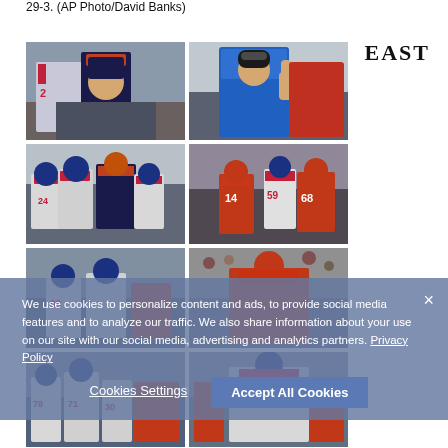29-3. (AP Photo/David Banks)
EAST
[Figure (photo): Grid of 6 NFL football game photos showing New York Giants vs Chicago Bears action shots including players, coaches, and crowd]
We use cookies to personalize content and ads, to provide social media features and to analyze our traffic. We also share information about your use on our site with our social media, advertising and analytics partners. Privacy Policy
Cookies Settings   Accept All Cookies